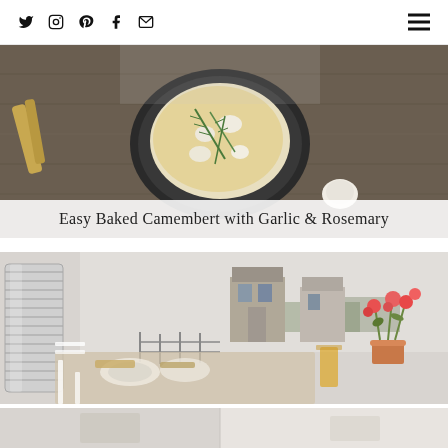Social icons: Twitter, Instagram, Pinterest, Facebook, Email; Hamburger menu
[Figure (photo): Baked camembert with garlic and rosemary in a dark bowl on a wooden surface, with breadsticks visible on the side]
Easy Baked Camembert with Garlic & Rosemary
[Figure (photo): Outdoor farm breakfast table scene with a corrugated water tank on the left, farm building in background, red geraniums in a terracotta pot, breakfast items and orange juice on the table, pastoral landscape]
Bunjil Farm Review, Macedon Ranges
[Figure (photo): Partial view of a third article image at the bottom of the page]